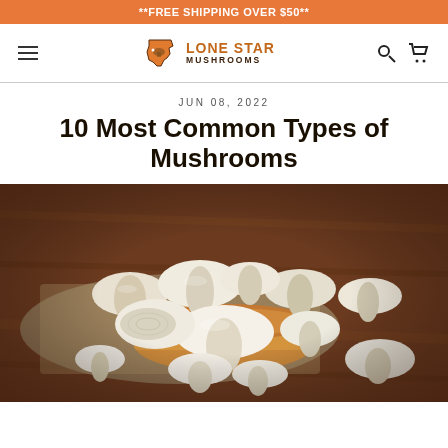**FREE SHIPPING OVER $50**
[Figure (logo): Lone Star Mushrooms logo with Texas state outline in orange and brown, with mushroom illustration, and text 'LONE STAR MUSHROOMS']
JUN 08, 2022
10 Most Common Types of Mushrooms
[Figure (photo): A wooden bowl filled with fresh white button mushrooms on a rustic burlap cloth and wooden table background]